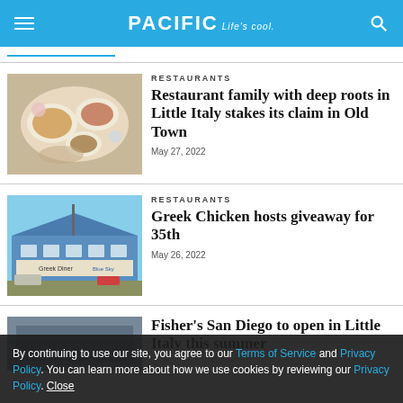PACIFIC Life's cool.
[Figure (photo): Overhead shot of a table with multiple dishes of food at a restaurant]
RESTAURANTS
Restaurant family with deep roots in Little Italy stakes its claim in Old Town
May 27, 2022
[Figure (photo): Exterior photo of Greek Chicken restaurant building with blue trim]
RESTAURANTS
Greek Chicken hosts giveaway for 35th
May 26, 2022
Fisher's San Diego to open in Little Italy this summer
By continuing to use our site, you agree to our Terms of Service and Privacy Policy. You can learn more about how we use cookies by reviewing our Privacy Policy. Close